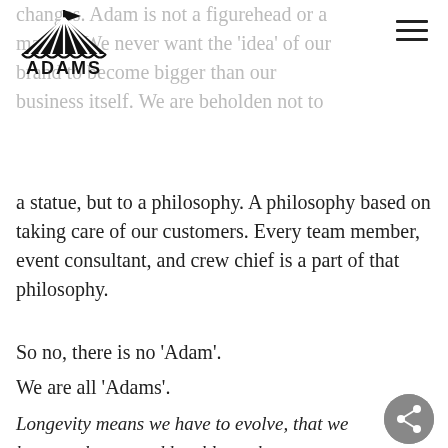[Figure (logo): Adams Tents logo — black circus tent with flag, company name ADAMS below]
changes. Adam is not a figurehead or a mascot. We never want the 'idea' of our brand to become bigger than our business itself. We are beholden not to
a statue, but to a philosophy. A philosophy based on taking care of our customers. Every team member, event consultant, and crew chief is a part of that philosophy.
So no, there is no 'Adam'.
We are all 'Adams'.
Longevity means we have to evolve, that we have to change and be able to change.
–Wolfgang Puck